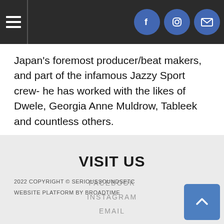Navigation menu | Social links: Facebook, Instagram, Email
Japan's foremost producer/beat makers, and part of the infamous Jazzy Sport crew- he has worked with the likes of Dwele, Georgia Anne Muldrow, Tableek and countless others.
VISIT US
FACEBOOK
INSTAGRAM
EMAIL
2022 COPYRIGHT © SERIOUSSOUNDSETC
WEBSITE PLATFORM BY BROADTIME